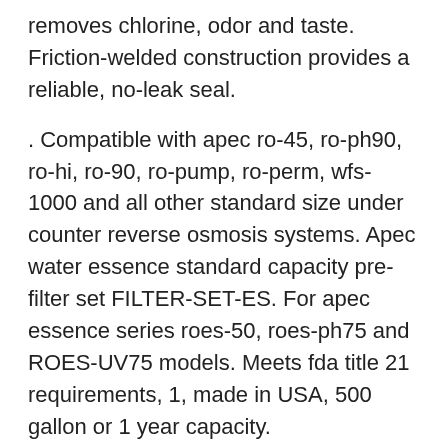removes chlorine, odor and taste. Friction-welded construction provides a reliable, no-leak seal.
. Compatible with apec ro-45, ro-ph90, ro-hi, ro-90, ro-pump, ro-perm, wfs-1000 and all other standard size under counter reverse osmosis systems. Apec water essence standard capacity pre-filter set FILTER-SET-ES. For apec essence series roes-50, roes-ph75 and ROES-UV75 models. Meets fda title 21 requirements, 1, made in USA, 500 gallon or 1 year capacity.
APEC 5-TCR-QC US MADE 10" Inline Carbon Filter with ¼" Quick Connect For Reverse Osmosis Water Filter System For Standard System #ad - Versatile & disposable inline filter housing design compatible with apec standard 1/4" output ultimate series system; RO-